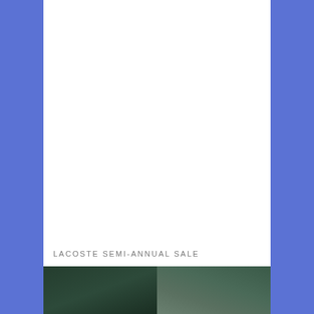LACOSTE SEMI-ANNUAL SALE
[Figure (photo): Partial photo of Lacoste products or clothing, split into two panels at the bottom of the page]